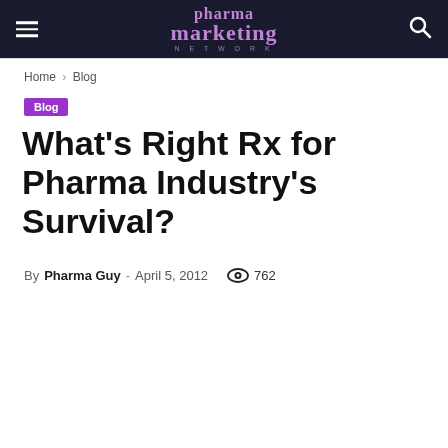pharma marketing network
Home › Blog
Blog
What's Right Rx for Pharma Industry's Survival?
By Pharma Guy - April 5, 2012  762